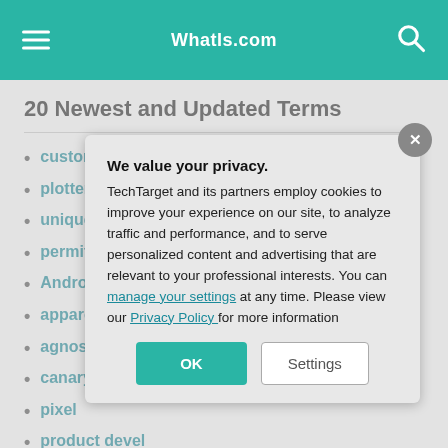WhatIs.com
20 Newest and Updated Terms
customer demographics
plotter
unique selling
permittivity of
Android OS
apparent powe
agnostic
canary testing
pixel
product devel NPD)
social media m
interlaced disp
We value your privacy. TechTarget and its partners employ cookies to improve your experience on our site, to analyze traffic and performance, and to serve personalized content and advertising that are relevant to your professional interests. You can manage your settings at any time. Please view our Privacy Policy for more information